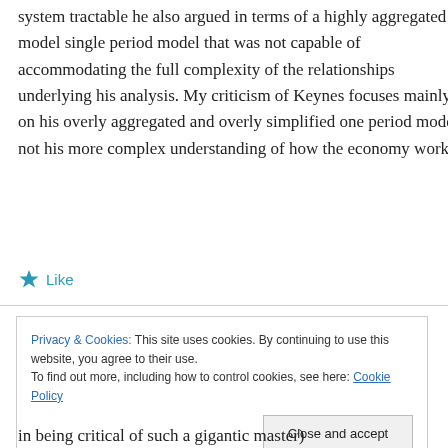system tractable he also argued in terms of a highly aggregated model single period model that was not capable of accommodating the full complexity of the relationships underlying his analysis. My criticism of Keynes focuses mainly on his overly aggregated and overly simplified one period model, not his more complex understanding of how the economy works.
★ Like
Privacy & Cookies: This site uses cookies. By continuing to use this website, you agree to their use.
To find out more, including how to control cookies, see here: Cookie Policy
Close and accept
in being critical of such a gigantic master)